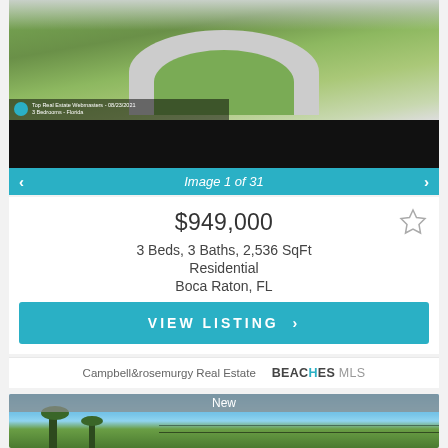[Figure (photo): Aerial view of a property with circular driveway and lawn, partially showing a watermark overlay. Below the photo is a black band (loading/transition area).]
Image 1 of 31
$949,000
3 Beds, 3 Baths, 2,536 SqFt
Residential
Boca Raton, FL
VIEW LISTING >
Campbell&rosemurgy Real Estate
BEACHES MLS
New
[Figure (photo): Partial view of another property listing showing blue sky and palm trees.]